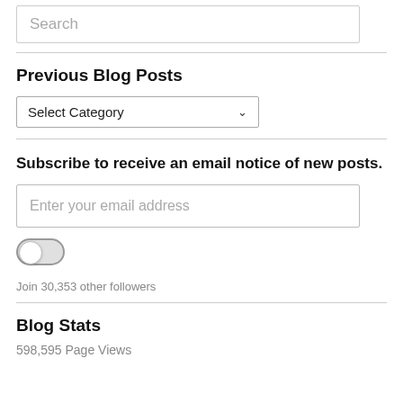Search
Previous Blog Posts
Select Category
Subscribe to receive an email notice of new posts.
Enter your email address
Join 30,353 other followers
Blog Stats
598,595 Page Views